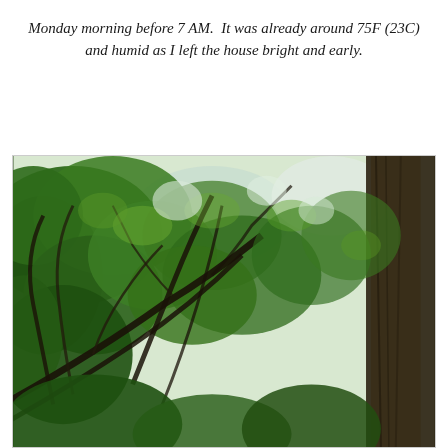Monday morning before 7 AM.  It was already around 75F (23C) and humid as I left the house bright and early.
[Figure (photo): Upward-looking photo through a canopy of large green trees, showing branches spreading across the frame with bright sky visible through the leaves. Dark tree trunk visible on the right side.]